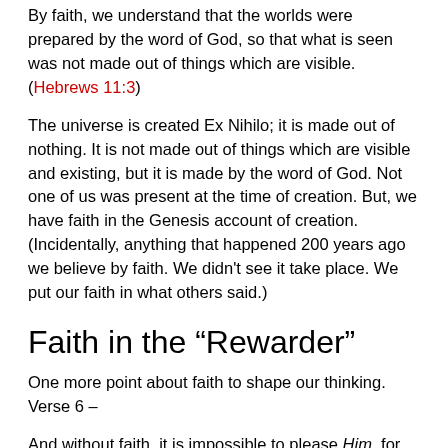By faith, we understand that the worlds were prepared by the word of God, so that what is seen was not made out of things which are visible. (Hebrews 11:3)
The universe is created Ex Nihilo; it is made out of nothing. It is not made out of things which are visible and existing, but it is made by the word of God. Not one of us was present at the time of creation. But, we have faith in the Genesis account of creation. (Incidentally, anything that happened 200 years ago we believe by faith. We didn't see it take place. We put our faith in what others said.)
Faith in the “Rewarder”
One more point about faith to shape our thinking. Verse 6 –
And without faith, it is impossible to please Him, for he who comes to God must believe that He is and that He